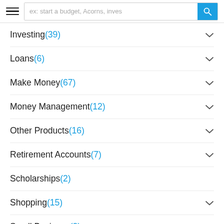ex: start a budget, Acorns, inves...
Investing(39)
Loans(6)
Make Money(67)
Money Management(12)
Other Products(16)
Retirement Accounts(7)
Scholarships(2)
Shopping(15)
Small Business(2)
Tax Preparation(8)